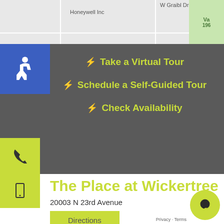[Figure (screenshot): Map view showing street layout with Honeywell Inc label, W Graibl Dr label, and a green area on the right edge]
[Figure (other): Blue accessibility icon box with wheelchair symbol]
Take a Virtual Tour
Schedule a Self-Guided Tour
Check Availability
[Figure (other): Yellow phone icon button]
[Figure (other): Yellow mobile phone icon button]
[Figure (other): Yellow clipboard icon button]
The Place at Wickertree
20003 N 23rd Avenue
Phoenix, AZ 85027
Directions
[Figure (other): Green chat bubble icon in bottom right corner]
Privacy · Terms